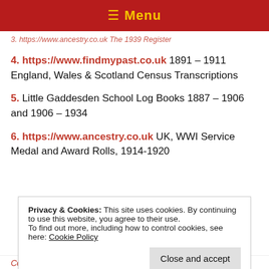≡ Menu
3. https://www.ancestry.co.uk The 1939 Register
4. https://www.findmypast.co.uk 1891 – 1911 England, Wales & Scotland Census Transcriptions
5. Little Gaddesden School Log Books 1887 – 1906 and 1906 – 1934
6. https://www.ancestry.co.uk UK, WWI Service Medal and Award Rolls, 1914-1920
Privacy & Cookies: This site uses cookies. By continuing to use this website, you agree to their use.
To find out more, including how to control cookies, see here: Cookie Policy
Come to Town', Life and Death in Hemel Hempstead in